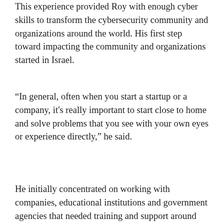This experience provided Roy with enough cyber skills to transform the cybersecurity community and organizations around the world. His first step toward impacting the community and organizations started in Israel.
“In general, often when you start a startup or a company, it's really important to start close to home and solve problems that you see with your own eyes or experience directly,” he said.
He initially concentrated on working with companies, educational institutions and government agencies that needed training and support around cyber skills. From there, his business evolved.